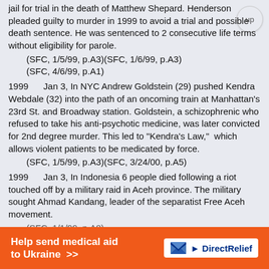jail for trial in the death of Matthew Shepard. Henderson pleaded guilty to murder in 1999 to avoid a trial and possible death sentence. He was sentenced to 2 consecutive life terms without eligibility for parole.
    (SFC, 1/5/99, p.A3)(SFC, 1/6/99, p.A3)(SFC, 4/6/99, p.A1)
1999      Jan 3, In NYC Andrew Goldstein (29) pushed Kendra Webdale (32) into the path of an oncoming train at Manhattan's 23rd St. and Broadway station. Goldstein, a schizophrenic who refused to take his anti-psychotic medicine, was later convicted for 2nd degree murder. This led to "Kendra's Law,"  which allows violent patients to be medicated by force.
    (SFC, 1/5/99, p.A3)(SFC, 3/24/00, p.A5)
1999      Jan 3, In Indonesia 6 people died following a riot touched off by a military raid in Aceh province. The military sought Ahmad Kandang, leader of the separatist Free Aceh movement.
    (SFC, 1/1/99, p.A8)
[Figure (other): Orange advertisement banner: 'Help send medical aid to Ukraine >>' with Direct Relief logo on white background]